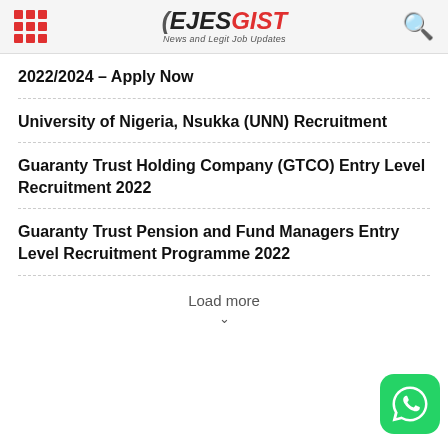EJESGIST - News and Legit Job Updates
2022/2024 – Apply Now
University of Nigeria, Nsukka (UNN) Recruitment
Guaranty Trust Holding Company (GTCO) Entry Level Recruitment 2022
Guaranty Trust Pension and Fund Managers Entry Level Recruitment Programme 2022
Load more
[Figure (logo): WhatsApp chat button icon in bottom right corner]